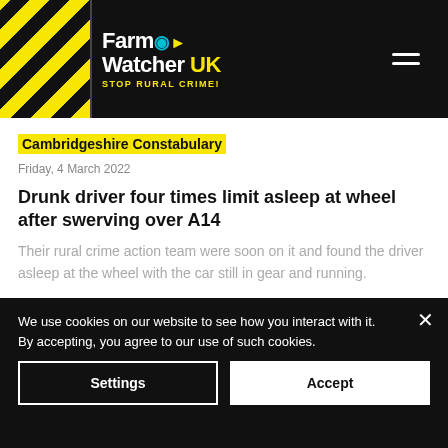Farm Watcher UK — STOP RURAL CRIME!
Cambridgeshire Constabulary
Friday, 4 March 2022
Drunk driver four times limit asleep at wheel after swerving over A14
Their rural crime action team were soon on it and found the driver asleep at the wheel with the car still in gear and running.
We use cookies on our website to see how you interact with it. By accepting, you agree to our use of such cookies.